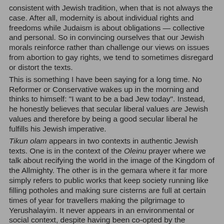consistent with Jewish tradition, when that is not always the case. After all, modernity is about individual rights and freedoms while Judaism is about obligations — collective and personal. So in convincing ourselves that our Jewish morals reinforce rather than challenge our views on issues from abortion to gay rights, we tend to sometimes disregard or distort the texts.
This is something I have been saying for a long time. No Reformer or Conservative wakes up in the morning and thinks to himself: "I want to be a bad Jew today". Instead, he honestly believes that secular liberal values are Jewish values and therefore by being a good secular liberal he fulfills his Jewish imperative.
Tikun olam appears in two contexts in authentic Jewish texts. One is in the context of the Oleinu prayer where we talk about recifying the world in the image of the Kingdom of the Allmighty. The other is in the gemara where it far more simply refers to public works that keep society running like filling potholes and making sure cisterns are full at certain times of year for travellers making the pilgrimage to Yerushalayim. It never appears in an environmental or social context, despite having been co-opted by the Reformers and Conservatives in recent decades for that exact purpose.